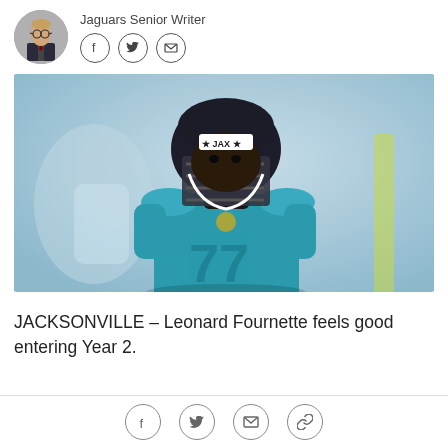Jaguars Senior Writer
[Figure (photo): Football player wearing Jacksonville Jaguars teal jersey and black JAX helmet, looking toward camera at practice]
JACKSONVILLE – Leonard Fournette feels good entering Year 2.